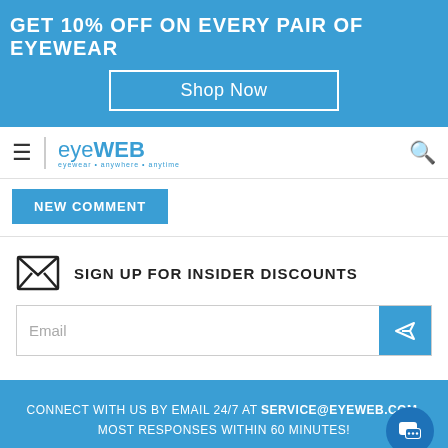GET 10% OFF ON EVERY PAIR OF EYEWEAR
Shop Now
eyeWEB eyewear • anywhere • anytime
NEW COMMENT
SIGN UP FOR INSIDER DISCOUNTS
Email
CONNECT WITH US BY EMAIL 24/7 AT SERVICE@EYEWEB.COM. MOST RESPONSES WITHIN 60 MINUTES!